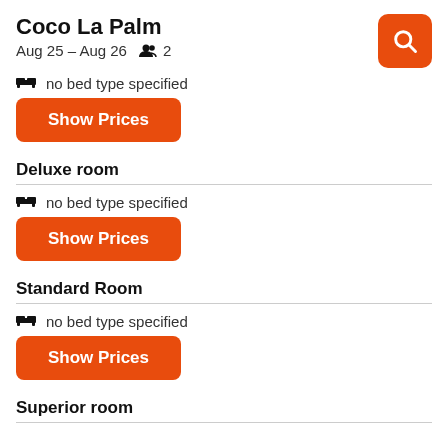Coco La Palm
Aug 25 – Aug 26   👥 2
🛏  no bed type specified
Show Prices
Deluxe room
🛏  no bed type specified
Show Prices
Standard Room
🛏  no bed type specified
Show Prices
Superior room